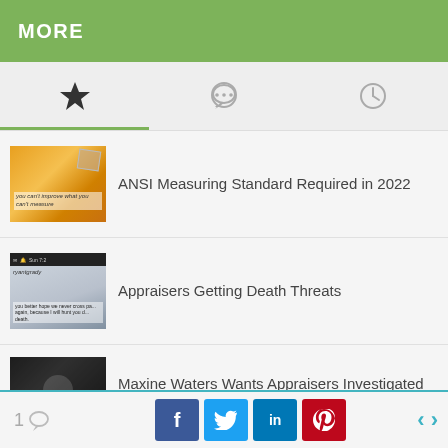MORE
[Figure (screenshot): Navigation tabs with star (favorites), chat bubble (comments), and clock (recent) icons. Green underline under first tab.]
[Figure (photo): Orange/yellow background with handwritten text 'You can't improve what you can't measure']
ANSI Measuring Standard Required in 2022
[Figure (screenshot): Screenshot of a mobile phone screen showing a threatening email from ryantgrady]
Appraisers Getting Death Threats
[Figure (photo): Dark photo thumbnail for Maxine Waters article]
Maxine Waters Wants Appraisers Investigated
1 [comment] [Facebook] [Twitter] [LinkedIn] [Pinterest] < >